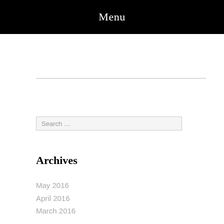Menu
Search …
Archives
May 2016
April 2016
March 2016